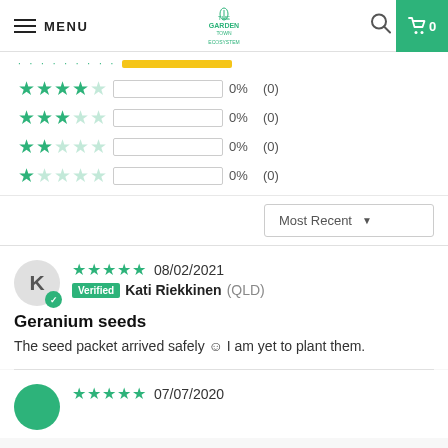MENU | [Logo] | [Search] | Cart 0
[Figure (infographic): Star rating bars showing 4-star, 3-star, 2-star, 1-star all at 0% (0) with empty progress bars]
Most Recent (dropdown)
08/02/2021 – Verified – Kati Riekkinen (QLD) – 5 stars
Geranium seeds
The seed packet arrived safely ☺ I am yet to plant them.
07/07/2020 – 5 stars (partial review)